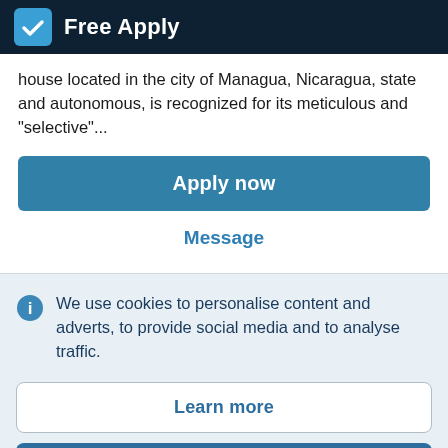Free Apply
house located in the city of Managua, Nicaragua, state and autonomous, is recognized for its meticulous and "selective"...
Apply now
Message
We use cookies to personalise content and adverts, to provide social media and to analyse traffic.
Learn more
Accept